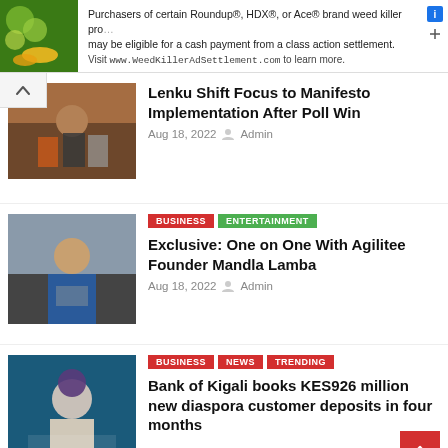[Figure (screenshot): Advertisement banner for WeedKillerAdSettlement.com with plant image]
Purchasers of certain Roundup®, HDX®, or Ace® brand weed killer products may be eligible for a cash payment from a class action settlement. Visit www.WeedKillerAdSettlement.com to learn more.
[Figure (photo): Group of people at a political rally]
Lenku Shift Focus to Manifesto Implementation After Poll Win
Aug 18, 2022  Admin
[Figure (photo): Man in blue shirt sitting at desk]
BUSINESS  ENTERTAINMENT
Exclusive: One on One With Agilitee Founder Mandla Lamba
Aug 18, 2022  Admin
[Figure (photo): Woman with afro hair speaking at event]
BUSINESS  NEWS  TRENDING
Bank of Kigali books KES926 million new diaspora customer deposits in four months